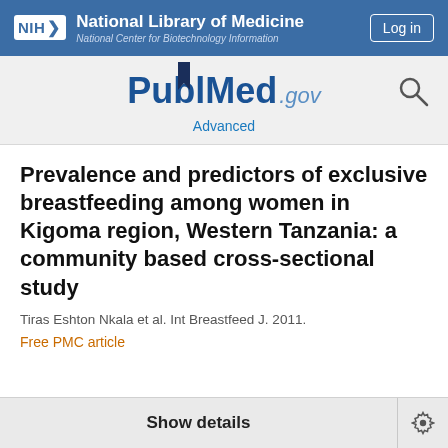NIH National Library of Medicine National Center for Biotechnology Information Log in
[Figure (logo): PubMed.gov logo with bookmark icon and search magnifying glass icon, with Advanced link below]
Prevalence and predictors of exclusive breastfeeding among women in Kigoma region, Western Tanzania: a community based cross-sectional study
Tiras Eshton Nkala et al. Int Breastfeed J. 2011.
Free PMC article